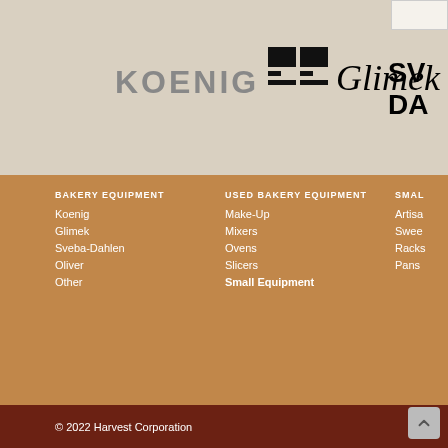[Figure (logo): KOENIG logo in grey block capitals]
[Figure (logo): Glimek logo with black grid icon and italic text]
[Figure (logo): Sveba-Dahlen partial logo (SV / DA)]
BAKERY EQUIPMENT
Koenig
Glimek
Sveba-Dahlen
Oliver
Other
USED BAKERY EQUIPMENT
Make-Up
Mixers
Ovens
Slicers
Small Equipment
SMAL…
Artisa…
Swee…
Racks
Pans
© 2022 Harvest Corporation